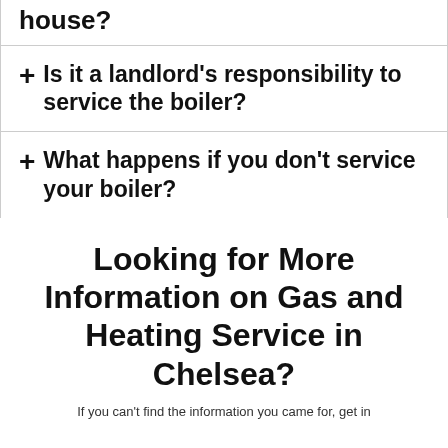+ house?
+ Is it a landlord's responsibility to service the boiler?
+ What happens if you don't service your boiler?
Looking for More Information on Gas and Heating Service in Chelsea?
If you can't find the information you came for, get in